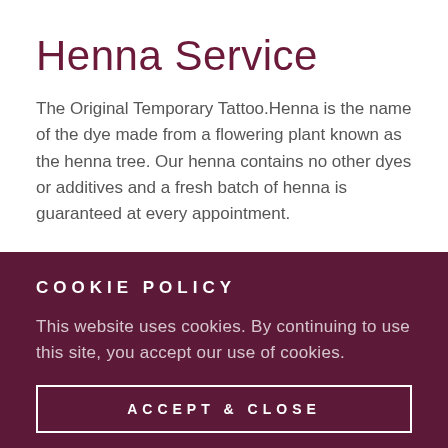Henna Service
The Original Temporary Tattoo.Henna is the name of the dye made from a flowering plant known as the henna tree. Our henna contains no other dyes or additives and a fresh batch of henna is guaranteed at every appointment.
COOKIE POLICY
This website uses cookies. By continuing to use this site, you accept our use of cookies.
ACCEPT & CLOSE